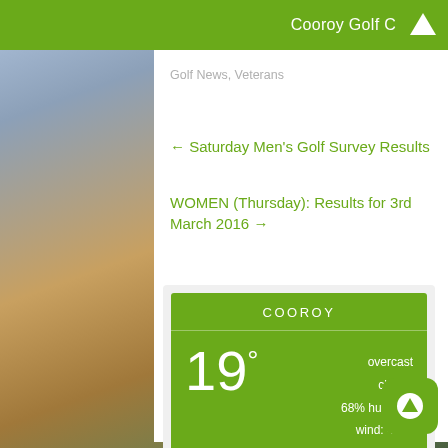Cooroy Golf C
Golf News, Veterans
← Saturday Men's Golf Survey Results
WOMEN (Thursday): Results for 3rd March 2016 →
[Figure (infographic): Weather widget showing COOROY location, 19° temperature, overcast clouds, 68% humidity, wind: 4m/s SE, H 20 • L 19]